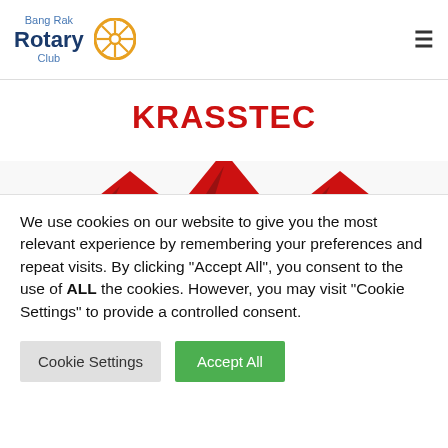Bang Rak Rotary Club
KRASSTEC
[Figure (photo): Decorative red star/crown shapes partially visible at bottom of content area]
We use cookies on our website to give you the most relevant experience by remembering your preferences and repeat visits. By clicking "Accept All", you consent to the use of ALL the cookies. However, you may visit "Cookie Settings" to provide a controlled consent.
Cookie Settings | Accept All